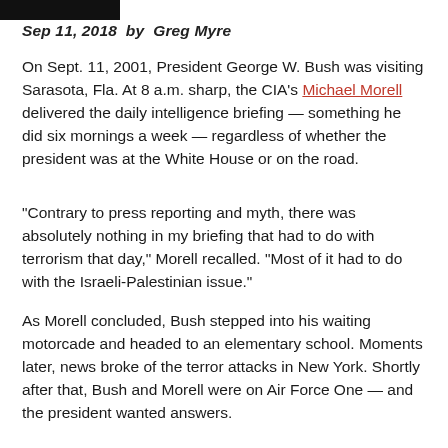Sep 11, 2018  by  Greg Myre
On Sept. 11, 2001, President George W. Bush was visiting Sarasota, Fla. At 8 a.m. sharp, the CIA’s Michael Morell delivered the daily intelligence briefing — something he did six mornings a week — regardless of whether the president was at the White House or on the road.
“Contrary to press reporting and myth, there was absolutely nothing in my briefing that had to do with terrorism that day,” Morell recalled. “Most of it had to do with the Israeli-Palestinian issue.”
As Morell concluded, Bush stepped into his waiting motorcade and headed to an elementary school. Moments later, news broke of the terror attacks in New York. Shortly after that, Bush and Morell were on Air Force One — and the president wanted answers.